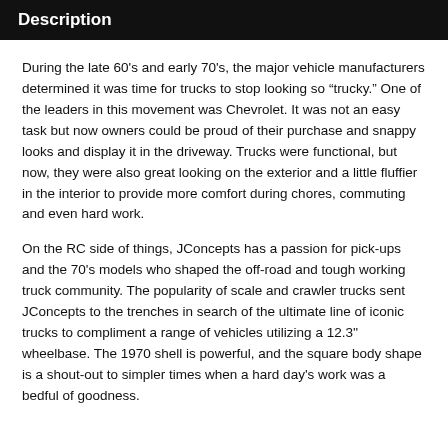Description
During the late 60's and early 70's, the major vehicle manufacturers determined it was time for trucks to stop looking so "trucky." One of the leaders in this movement was Chevrolet. It was not an easy task but now owners could be proud of their purchase and snappy looks and display it in the driveway. Trucks were functional, but now, they were also great looking on the exterior and a little fluffier in the interior to provide more comfort during chores, commuting and even hard work.
On the RC side of things, JConcepts has a passion for pick-ups and the 70's models who shaped the off-road and tough working truck community. The popularity of scale and crawler trucks sent JConcepts to the trenches in search of the ultimate line of iconic trucks to compliment a range of vehicles utilizing a 12.3'' wheelbase. The 1970 shell is powerful, and the square body shape is a shout-out to simpler times when a hard day's work was a bedful of goodness.